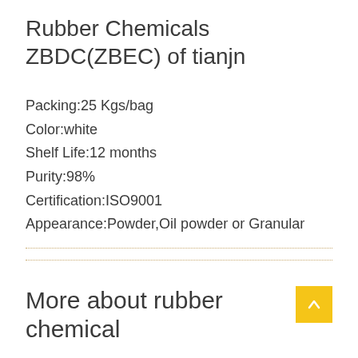Rubber Chemicals ZBDC(ZBEC) of tianjn
Packing:25 Kgs/bag
Color:white
Shelf Life:12 months
Purity:98%
Certification:ISO9001
Appearance:Powder,Oil powder or Granular
More about rubber chemical